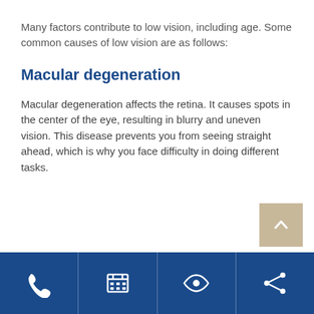Many factors contribute to low vision, including age. Some common causes of low vision are as follows:
Macular degeneration
Macular degeneration affects the retina. It causes spots in the center of the eye, resulting in blurry and uneven vision. This disease prevents you from seeing straight ahead, which is why you face difficulty in doing different tasks.
[Figure (other): Navigation footer bar with four icons: phone, calendar/grid, eye, and share/network icon on dark blue background]